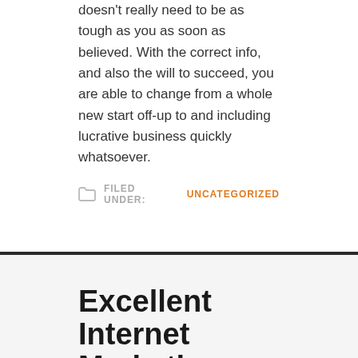doesn't really need to be as tough as you as soon as believed. With the correct info, and also the will to succeed, you are able to change from a whole new start off-up to and including lucrative business quickly whatsoever.
FILED UNDER: UNCATEGORIZED
Excellent Internet Marketing Recommendations That Will boosts Your Main Point Here.